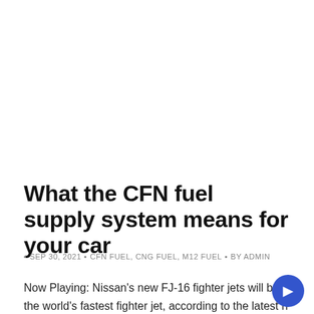What the CFN fuel supply system means for your car
SEP 30, 2021  CFN FUEL, CNG FUEL, M12 FUEL  BY ADMIN
Now Playing: Nissan's new FJ-16 fighter jets will be the world's fastest fighter jet, according to the latest n Now Playing.